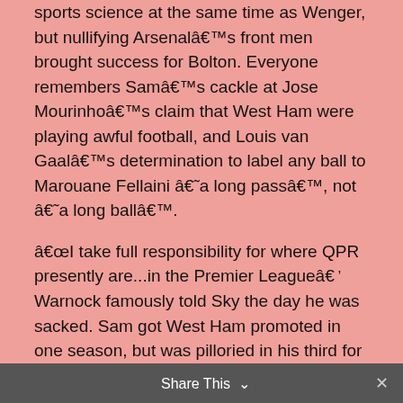sports science at the same time as Wenger, but nullifying Arsenalâ€™s front men brought success for Bolton. Everyone remembers Samâ€™s cackle at Jose Mourinhoâ€™s claim that West Ham were playing awful football, and Louis van Gaalâ€™s determination to label any ball to Marouane Fellaini â€˜a long passâ€™, not â€˜a long ballâ€™.
â€œI take full responsibility for where QPR presently are...in the Premier Leagueâ€ Warnock famously told Sky the day he was sacked. Sam got West Ham promoted in one season, but was pilloried in his third for not playing â€˜the West Ham wayâ€™, one of those indefinable concepts like qi or karma.
As for players, there is no respite in the public arena and Sam recalls the 1970s as a better time. The PFA argued that what the jobs apprentices did, mucking out